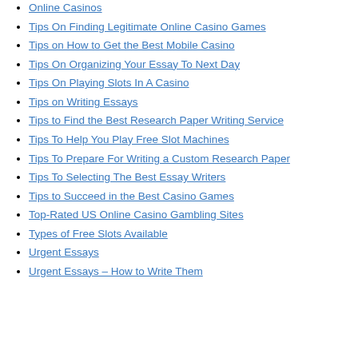Online Casinos
Tips On Finding Legitimate Online Casino Games
Tips on How to Get the Best Mobile Casino
Tips On Organizing Your Essay To Next Day
Tips On Playing Slots In A Casino
Tips on Writing Essays
Tips to Find the Best Research Paper Writing Service
Tips To Help You Play Free Slot Machines
Tips To Prepare For Writing a Custom Research Paper
Tips To Selecting The Best Essay Writers
Tips to Succeed in the Best Casino Games
Top-Rated US Online Casino Gambling Sites
Types of Free Slots Available
Urgent Essays
Urgent Essays – How to Write Them